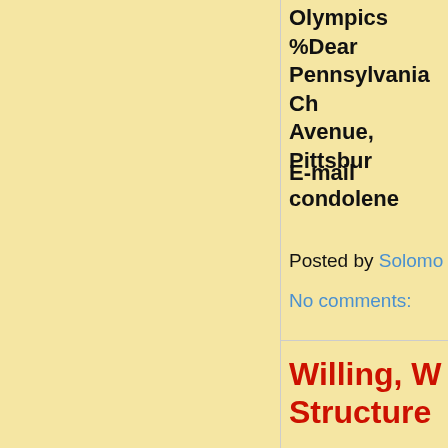Olympics %Dear Pennsylvania Ch Avenue, Pittsbur
E-mail condolene
Posted by Solomo
No comments:
Willing, W Structure